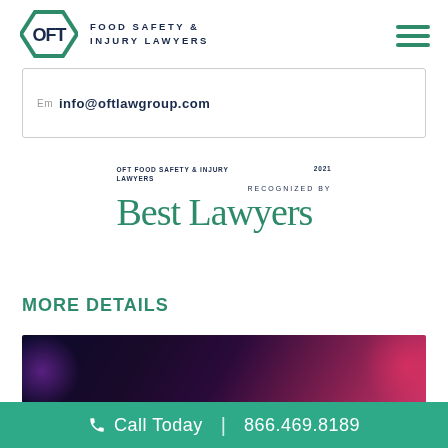OFT Food Safety & Injury Lawyers
info@oftlawgroup.com
[Figure (logo): Best Lawyers 2021 recognition badge for OFT Food Safety & Injury Lawyers — RECOGNIZED BY Best Lawyers]
MORE DETAILS
[Figure (photo): Dark background photo with purple and pink bokeh lighting effects]
Call Today | 866.469.8189